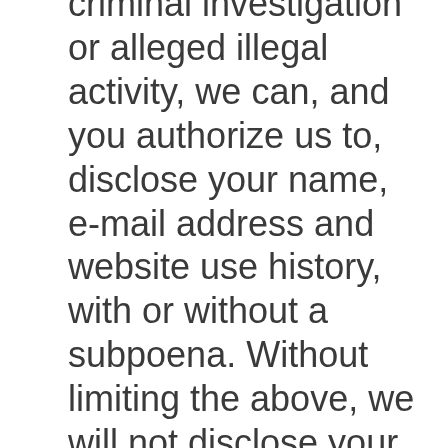criminal investigation or alleged illegal activity, we can, and you authorize us to, disclose your name, e-mail address and website use history, with or without a subpoena. Without limiting the above, we will not disclose your Information to any law enforcement or other governmental officials without a subpoena or court order, except when we believe in good faith that the disclosure of information is necessary to protect our rights, enforce our policies, respond to